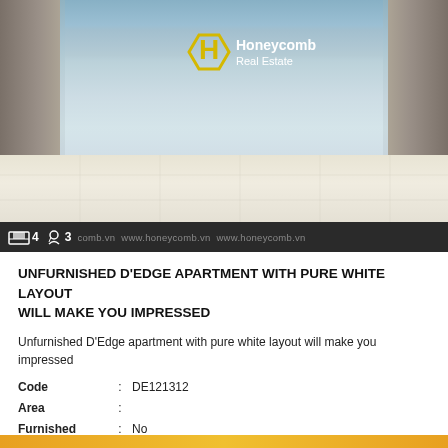[Figure (photo): Interior photo of an unfurnished apartment with large floor-to-ceiling windows showing a river view, white/beige marble tile floor, and beige curtains on the sides. Honeycomb Real Estate logo overlaid in center.]
4 bedrooms, 3 bathrooms. www.honeycomb.vn www.honeycomb.vn www.honeycomb.vn
UNFURNISHED D'EDGE APARTMENT WITH PURE WHITE LAYOUT WILL MAKE YOU IMPRESSED
Unfurnished D'Edge apartment with pure white layout will make you impressed
Code : DE121312
Area :
Furnished : No